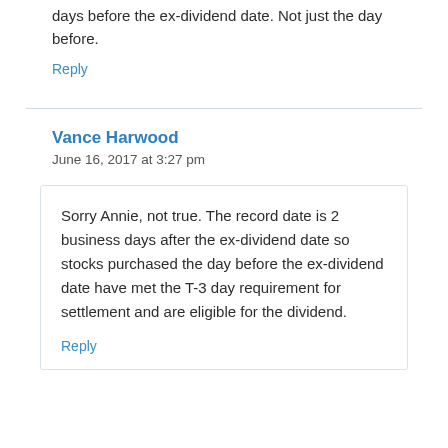days before the ex-dividend date. Not just the day before.
Reply
Vance Harwood
June 16, 2017 at 3:27 pm
Sorry Annie, not true. The record date is 2 business days after the ex-dividend date so stocks purchased the day before the ex-dividend date have met the T-3 day requirement for settlement and are eligible for the dividend.
Reply